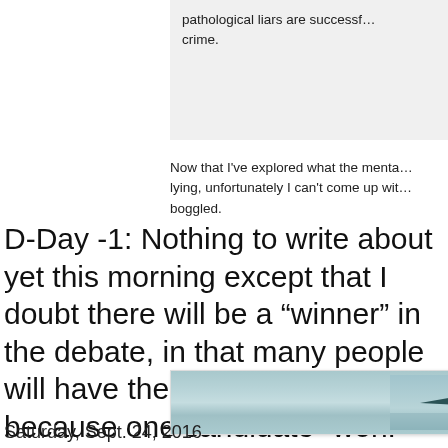pathological liars are successf… crime.
Now that I've explored what the menta… lying, unfortunately I can't come up wit… boggled.
D-Day -1: Nothing to write about yet this morning except that I doubt there will be a “winner” in the debate, in that many people will have their minds changed because one candidate “won.”
[Figure (photo): A stealth aircraft silhouette flying low over water, viewed from the side against a hazy sky.]
Saturday, Sept. 24, 2016